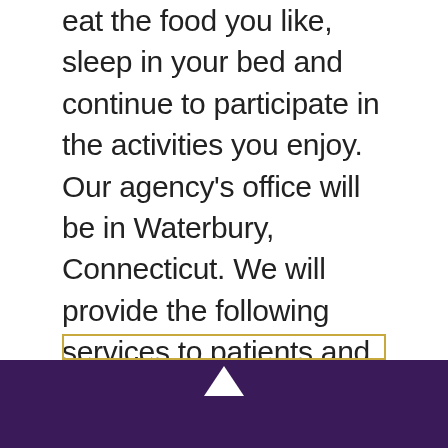eat the food you like, sleep in your bed and continue to participate in the activities you enjoy. Our agency's office will be in Waterbury, Connecticut. We will provide the following services to patients and clients living within a 50miles radius of our office: (a) home health aide, (b) personal care assistant, and (c) companionship. We give the families peace of mind of knowing that their family member is getting the care they need around the clock when they need it.